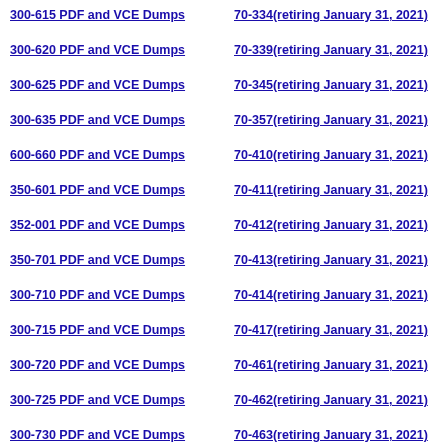300-615 PDF and VCE Dumps
300-620 PDF and VCE Dumps
300-625 PDF and VCE Dumps
300-635 PDF and VCE Dumps
600-660 PDF and VCE Dumps
350-601 PDF and VCE Dumps
352-001 PDF and VCE Dumps
350-701 PDF and VCE Dumps
300-710 PDF and VCE Dumps
300-715 PDF and VCE Dumps
300-720 PDF and VCE Dumps
300-725 PDF and VCE Dumps
300-730 PDF and VCE Dumps
70-334(retiring January 31, 2021)
70-339(retiring January 31, 2021)
70-345(retiring January 31, 2021)
70-357(retiring January 31, 2021)
70-410(retiring January 31, 2021)
70-411(retiring January 31, 2021)
70-412(retiring January 31, 2021)
70-413(retiring January 31, 2021)
70-414(retiring January 31, 2021)
70-417(retiring January 31, 2021)
70-461(retiring January 31, 2021)
70-462(retiring January 31, 2021)
70-463(retiring January 31, 2021)